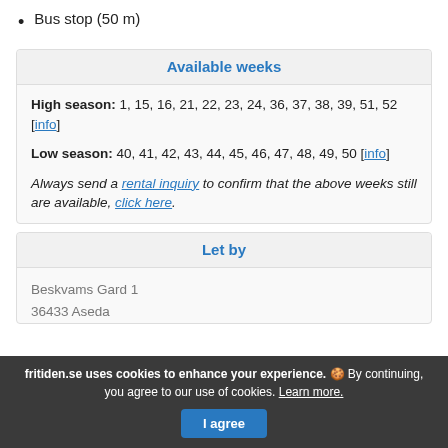Bus stop (50 m)
Available weeks
High season: 1, 15, 16, 21, 22, 23, 24, 36, 37, 38, 39, 51, 52 [info]
Low season: 40, 41, 42, 43, 44, 45, 46, 47, 48, 49, 50 [info]
Always send a rental inquiry to confirm that the above weeks still are available, click here.
Let by
Beskvams Gard 1
36433 Aseda
fritiden.se uses cookies to enhance your experience. 🍪 By continuing, you agree to our use of cookies. Learn more.